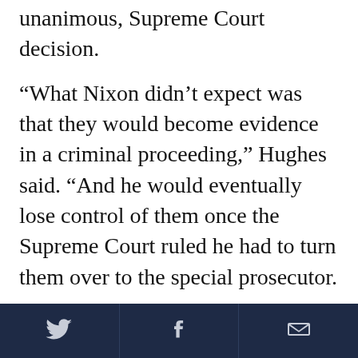unanimous, Supreme Court decision.
“What Nixon didn’t expect was that they would become evidence in a criminal proceeding,” Hughes said. “And he would eventually lose control of them once the Supreme Court ruled he had to turn them over to the special prosecutor.
“Nixon was not crazy or stupid for taping his conversations,” Hughes continued. “He just wound up in a situation that he did not foresee.”
The most revealing recording, the one that turned even Nixon’s stalwart Republican defenders against him, is the so-called “smoking gun” tape.
[Twitter icon] [Facebook icon] [Email icon]